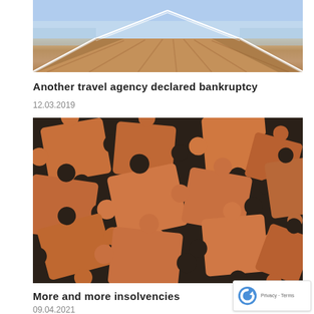[Figure (photo): Wooden pier/boardwalk extending into distance over water, white railings, blue sky]
Another travel agency declared bankruptcy
12.03.2019
[Figure (photo): Close-up pile of wooden jigsaw puzzle pieces scattered on dark background]
More and more insolvencies
09.04.2021